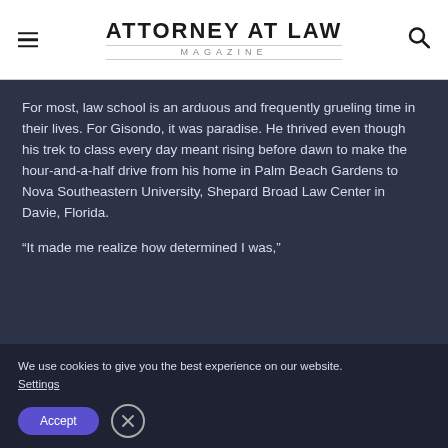ATTORNEY AT LAW MAGAZINE
For most, law school is an arduous and frequently grueling time in their lives. For Gisondo, it was paradise. He thrived even though his trek to class every day meant rising before dawn to make the hour-and-a-half drive from his home in Palm Beach Gardens to Nova Southeastern University, Shepard Broad Law Center in Davie, Florida.
“It made me realize how determined I was,”
We use cookies to give you the best experience on our website.
Settings
Accept